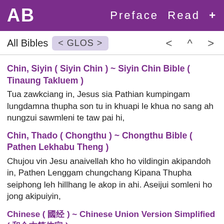AB  Preface  Read  +
All Bibles  < GLOS >  < ^ >
Chin, Siyin ( Siyin Chin ) ~ Siyin Chin Bible ( Tinaung Takluem )
Tua zawkciang in, Jesus sia Pathian kumpingam lungdamna thupha son tu in khuapi le khua no sang ah nungzui sawmleni te taw pai hi,
Chin, Thado ( Chongthu ) ~ Chongthu Bible ( Pathen Lekhabu Theng )
Chujou vin Jesu anaivellah kho ho vildingin akipandoh in, Pathen Lenggam chungchang Kipana Thupha seiphong leh hillhang le akop in ahi. Aseijui somleni ho jong akipuiyin,
Chinese ( 圣经 ) ~ Chinese Union Version Simplified ( 和合本简体字 )
神爱世人，甚至将他的独生子赐给他们 叫一切信他的，不至灭亡，反得永生。